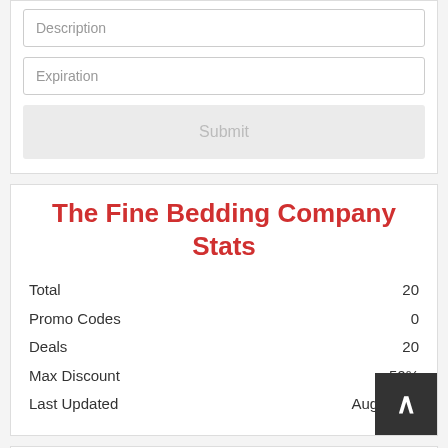Description
Expiration
Submit
The Fine Bedding Company Stats
| Stat | Value |
| --- | --- |
| Total | 20 |
| Promo Codes | 0 |
| Deals | 20 |
| Max Discount | 50% |
| Last Updated | August 20 |
The Fine Bedding Company Top